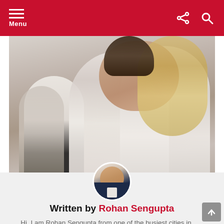Menu
[Figure (photo): A couple kissing, embracing each other in what appears to be a bathroom or tiled space. In the background, a man hugs someone from behind. Close-up photo, warm tones.]
Don't Be Shy: Attract Your Soulmate With This Powerful Guide
[Figure (photo): Circular avatar photo of Rohan Sengupta wearing a navy blue blazer with white shirt, against a light background with decorative lines.]
Written by Rohan Sengupta
Hi, I am Rohan Sengupta from one of the busiest cities in